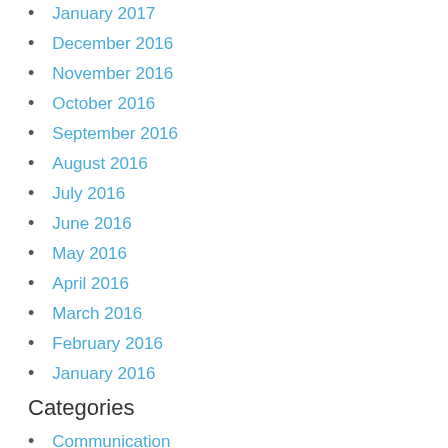January 2017
December 2016
November 2016
October 2016
September 2016
August 2016
July 2016
June 2016
May 2016
April 2016
March 2016
February 2016
January 2016
Categories
Communication
Data
General